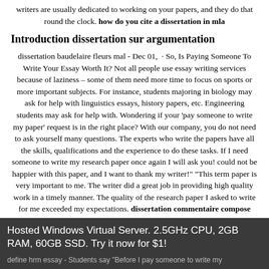writers are usually dedicated to working on your papers, and they do that round the clock. how do you cite a dissertation in mla
Introduction dissertation sur argumentation
dissertation baudelaire fleurs mal - Dec 01,  · So, Is Paying Someone To Write Your Essay Worth It? Not all people use essay writing services because of laziness – some of them need more time to focus on sports or more important subjects. For instance, students majoring in biology may ask for help with linguistics essays, history papers, etc. Engineering students may ask for help with. Wondering if your 'pay someone to write my paper' request is in the right place? With our company, you do not need to ask yourself many questions. The experts who write the papers have all the skills, qualifications and the experience to do these tasks. If I need someone to write my research paper once again I will ask you! could not be happier with this paper, and I want to thank my writer!" "This term paper is very important to me. The writer did a great job in providing high quality work in a timely manner. The quality of the research paper I asked to write for me exceeded my expectations. dissertation commentaire compose
Hosted Windows Virtual Server. 2.5GHz CPU, 2GB RAM, 60GB SSD. Try it now for $1!
define hrm essay - Students say "Before I pay someone to write my